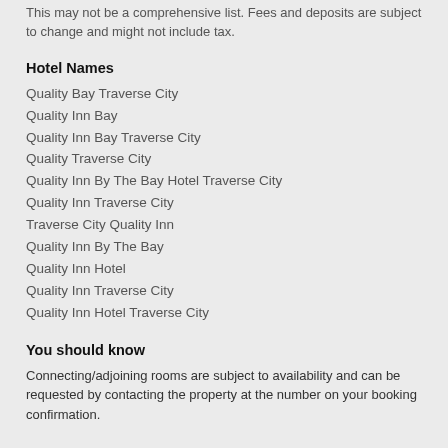This may not be a comprehensive list. Fees and deposits are subject to change and might not include tax.
Hotel Names
Quality Bay Traverse City
Quality Inn Bay
Quality Inn Bay Traverse City
Quality Traverse City
Quality Inn By The Bay Hotel Traverse City
Quality Inn Traverse City
Traverse City Quality Inn
Quality Inn By The Bay
Quality Inn Hotel
Quality Inn Traverse City
Quality Inn Hotel Traverse City
You should know
Connecting/adjoining rooms are subject to availability and can be requested by contacting the property at the number on your booking confirmation.